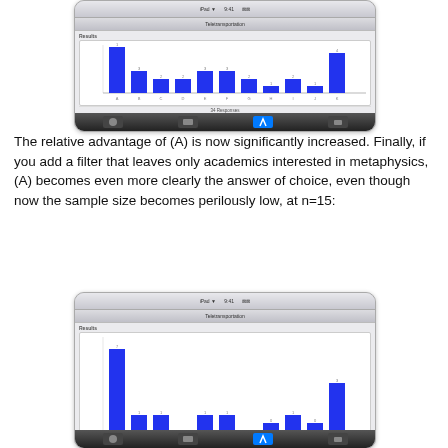[Figure (screenshot): iPad screenshot showing a bar chart (Teletransportation survey results) with bars for categories A through K, with A being tallest, K second tallest, and remaining bars shorter. Shows 34 Responses and 0 Comments.]
The relative advantage of (A) is now significantly increased. Finally, if you add a filter that leaves only academics interested in metaphysics, (A) becomes even more clearly the answer of choice, even though now the sample size becomes perilously low, at n=15:
[Figure (screenshot): iPad screenshot showing a bar chart (Teletransportation survey results, filtered to metaphysics academics, n=15) with bars for categories A through K. A is by far the tallest bar, K is second, and remaining bars are much shorter.]